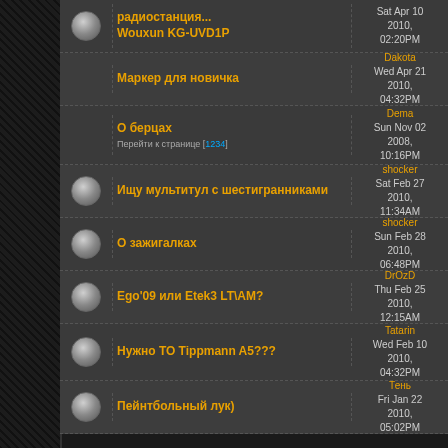[Figure (screenshot): Forum thread list with Russian topics, dark gray background, left decorative panel]
Wouxun KG-UVD1P
Маркер для новичка - Dakota, Wed Apr 21 2010, 04:32PM
О берцах - Dema, Sun Nov 02 2008, 10:16PM
Ищу мультитул с шестигранниками - shocker, Sat Feb 27 2010, 11:34AM
О зажигалках - shocker, Sun Feb 28 2010, 06:48PM
Ego'09 или Etek3 LT\AM? - DrOzD, Thu Feb 25 2010, 12:15AM
Нужно ТО Tippmann A5??? - Tatarin, Wed Feb 10 2010, 04:32PM
Пейнтбольный лук) - Тень, Fri Jan 22 2010, 05:02PM